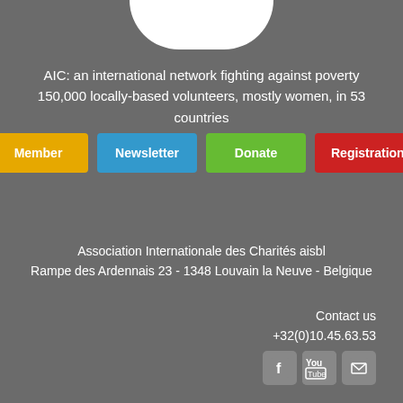[Figure (logo): White rounded-bottom logo shape at top center]
AIC: an international network fighting against poverty
150,000 locally-based volunteers, mostly women, in 53 countries
Member | Newsletter | Donate | Registration
Association Internationale des Charités aisbl
Rampe des Ardennais 23 - 1348 Louvain la Neuve - Belgique
Contact us
+32(0)10.45.63.53